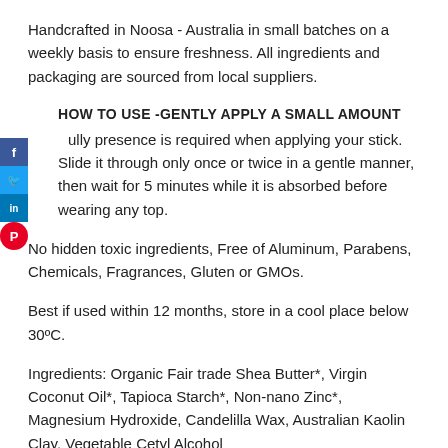Handcrafted in Noosa - Australia in small batches on a weekly basis to ensure freshness. All ingredients and packaging are sourced from local suppliers.
HOW TO USE - GENTLY APPLY A SMALL AMOUNT
A fully presence is required when applying your stick. Slide it through only once or twice in a gentle manner, then wait for 5 minutes while it is absorbed before wearing any top.
No hidden toxic ingredients, Free of Aluminum, Parabens, Chemicals, Fragrances, Gluten or GMOs.
Best if used within 12 months, store in a cool place below 30ºC.
Ingredients: Organic Fair trade Shea Butter*, Virgin Coconut Oil*, Tapioca Starch*, Non-nano Zinc*, Magnesium Hydroxide, Candelilla Wax, Australian Kaolin Clay, Vegetable Cetyl Alcohol